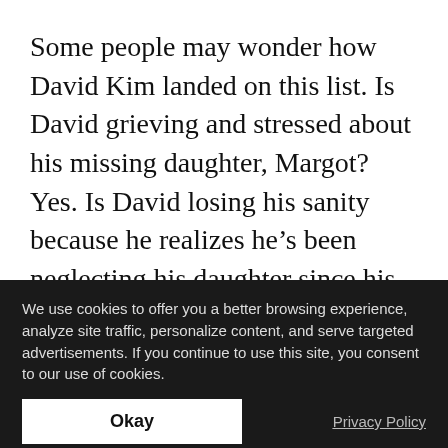Some people may wonder how David Kim landed on this list. Is David grieving and stressed about his missing daughter, Margot? Yes. Is David losing his sanity because he realizes he’s been neglecting his daughter since his wife died? Also yes. Does that change the fact that John Cho totally pulls off the rugged and disheveled dad look? No. Anyway, David’s relentless drive to find Margot only helps the hot factor, even if it’s rather grim to watch someone attractive go to their wit’s end. Hopefully, Cho has a chance at playing a happier father role in the future...
We use cookies to offer you a better browsing experience, analyze site traffic, personalize content, and serve targeted advertisements. If you continue to use this site, you consent to our use of cookies.
Okay
Privacy Policy